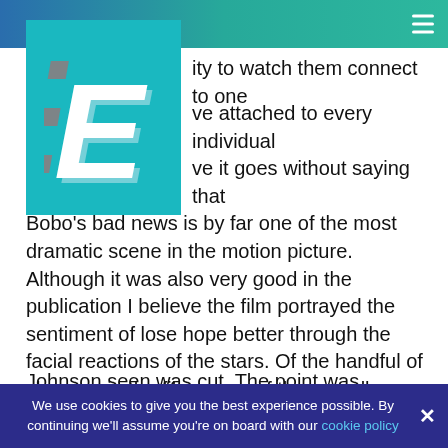[Figure (logo): A teal/cyan square logo with a bold white 3D italic letter E]
ity to watch them connect to one
ve attached to every individual ve it goes without saying that Bobo's bad news is by far one of the most dramatic scene in the motion picture. Although it was also very good in the publication I believe the film portrayed the sentiment of lose hope better through the facial reactions of the stars. Of the handful of changes in the film non-e of these really irritated me. In fact I'm pleased the Ms.
Johnson seen was cut. The point was nagging and disruptive for the flow with the story. I do believe that
We use cookies to give you the best experience possible. By continuing we'll assume you're on board with our cookie policy